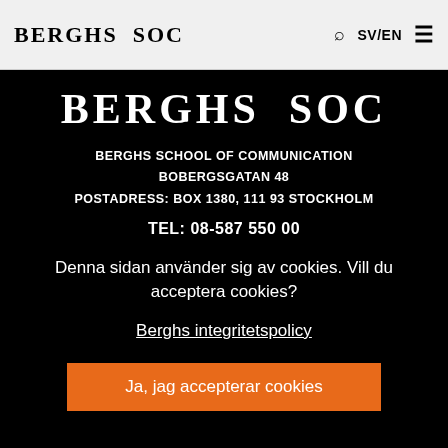BERGHS SOC  SV/EN
BERGHS SOC
BERGHS SCHOOL OF COMMUNICATION
BOBERGSGATAN 48
POSTADRESS: BOX 1380, 111 93 STOCKHOLM
TEL: 08-587 550 00
Denna sidan använder sig av cookies. Vill du acceptera cookies?
Berghs integritetspolicy
Ja, jag accepterar cookies